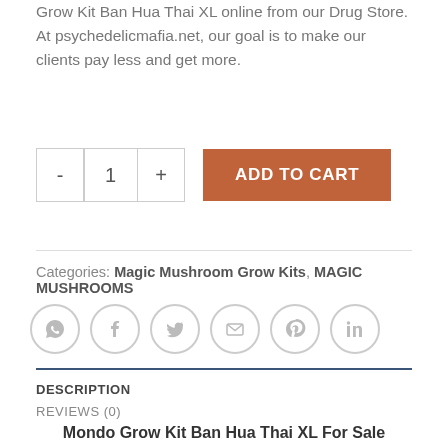Grow Kit Ban Hua Thai XL online from our Drug Store. At psychedelicmafia.net, our goal is to make our clients pay less and get more.
[Figure (screenshot): Add to cart UI with quantity selector (minus, 1, plus) and orange ADD TO CART button]
Categories: Magic Mushroom Grow Kits, MAGIC MUSHROOMS
[Figure (illustration): Row of 6 social share icon circles: WhatsApp, Facebook, Twitter, Email, Pinterest, LinkedIn]
DESCRIPTION
REVIEWS (0)
Mondo Grow Kit Ban Hua Thai XL For Sale